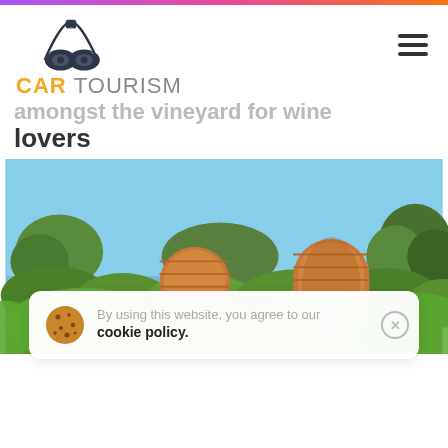CAR TOURISM
amongst the vineyard for wine lovers
[Figure (photo): Two large wooden barrel-shaped structures (glamping pods/chalets) standing in a vineyard with lush green foliage and blue sky in the background.]
By using this website, you agree to our cookie policy.